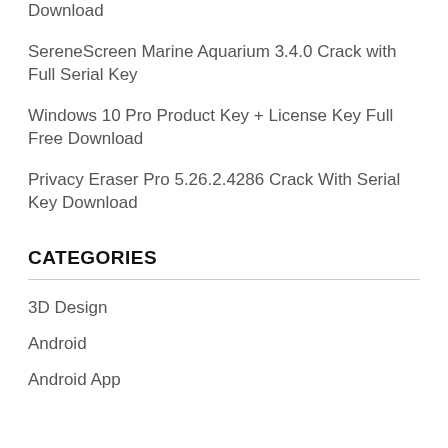Download
SereneScreen Marine Aquarium 3.4.0 Crack with Full Serial Key
Windows 10 Pro Product Key + License Key Full Free Download
Privacy Eraser Pro 5.26.2.4286 Crack With Serial Key Download
CATEGORIES
3D Design
Android
Android App